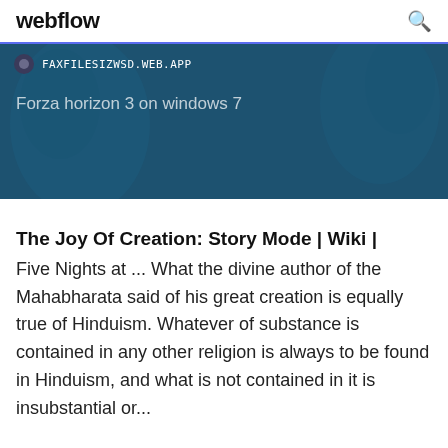webflow
[Figure (screenshot): Blue banner showing a browser address bar with URL FAXFILESIZWSD.WEB.APP and text 'Forza horizon 3 on windows 7']
The Joy Of Creation: Story Mode | Wiki |
Five Nights at ... What the divine author of the Mahabharata said of his great creation is equally true of Hinduism. Whatever of substance is contained in any other religion is always to be found in Hinduism, and what is not contained in it is insubstantial or...